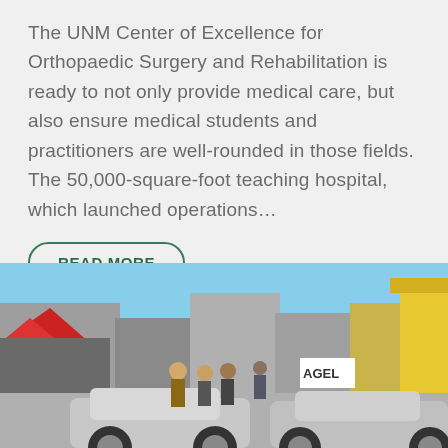The UNM Center of Excellence for Orthopaedic Surgery and Rehabilitation is ready to not only provide medical care, but also ensure medical students and practitioners are well-rounded in those fields. The 50,000-square-foot teaching hospital, which launched operations...
READ MORE
[Figure (photo): Outdoor street scene showing people standing near cars in a parking area. A red tent/canopy is visible on the left, and commercial buildings including one with 'AGEL' signage are in the background. Blue sky visible. Cars parked in foreground.]